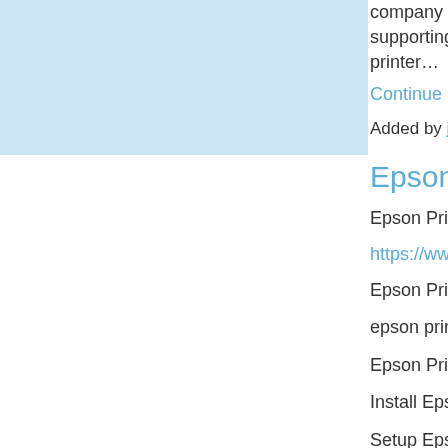[Figure (illustration): Light blue rectangle image placeholder on the left side of the page]
company that supporting the printer…
Continue
Added by jonas ju
Epson Printe
Epson Printer S
https://www.pri
Epson Printer S
epson printer s
Epson Printer S
Install Epson P
Setup Epson P
How to Connec